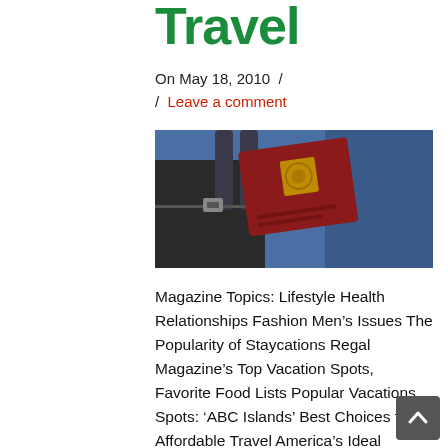Travel
On May 18, 2010  /
/  Leave a comment
[Figure (photo): A red passport resting on a dark suitcase with blue fabric in the background]
Magazine Topics: Lifestyle Health Relationships Fashion Men's Issues The Popularity of Staycations Regal Magazine's Top Vacation Spots, Favorite Food Lists Popular Vacations Spots: 'ABC Islands' Best Choices for Affordable Travel America's Ideal Retirement Locations Black Bucket